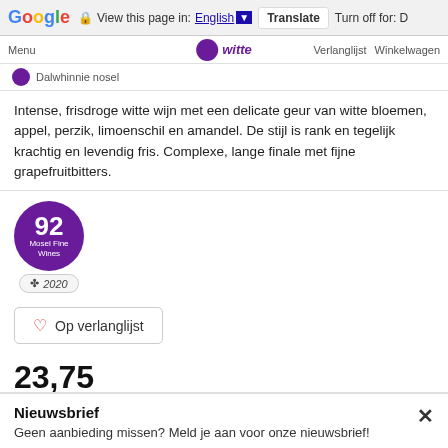Google  View this page in: English [▼]  Translate  Turn off for: D
Menu  [logo] witte  Verlanglijst  Winkelwagen
Intense, frisdroge witte wijn met een delicate geur van witte bloemen, appel, perzik, limoenschil en amandel. De stijl is rank en tegelijk krachtig en levendig fris. Complexe, lange finale met fijne grapefruitbitters.
[Figure (other): Purple circular badge showing score 92, Mosel Fine Wines, with year 2020 below]
Op verlanglijst
23,75
Vanaf 12 flessen 21,80 per fles
Nieuwsbrief
Geen aanbieding missen? Meld je aan voor onze nieuwsbrief!